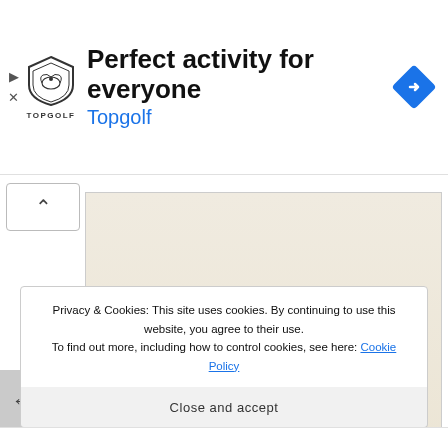[Figure (advertisement): Topgolf advertisement banner. Shield logo with bird, text 'TOPGOLF', headline 'Perfect activity for everyone', blue subtext 'Topgolf', blue navigation diamond icon on right.]
[Figure (illustration): Sepia-toned fantasy character concept art sketches showing multiple figures with long flowing hair and ethereal robes, with small annotation text labels pointing to features.]
Privacy & Cookies: This site uses cookies. By continuing to use this website, you agree to their use.
To find out more, including how to control cookies, see here: Cookie Policy
Close and accept